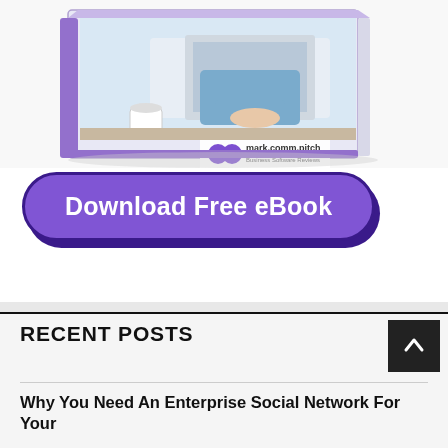[Figure (illustration): Book/eBook cover illustration showing a woman sitting at a desktop computer. The book has a purple spine and displays 'mark.comm.pitch Business Software Reviews' logo at bottom. White background with office setting.]
[Figure (other): Purple rounded rectangle button with dark purple border and shadow reading 'Download Free eBook' in bold white text.]
RECENT POSTS
Why You Need An Enterprise Social Network For Your